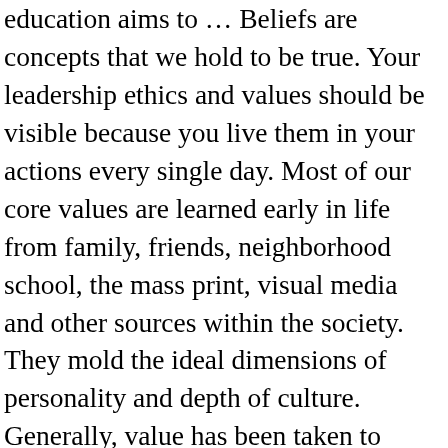education aims to … Beliefs are concepts that we hold to be true. Your leadership ethics and values should be visible because you live them in your actions every single day. Most of our core values are learned early in life from family, friends, neighborhood school, the mass print, visual media and other sources within the society. They mold the ideal dimensions of personality and depth of culture. Generally, value has been taken to mean moral ideas, general conceptions or orientations towards the world or sometimes simply interests, attitudes, preferences, needs, sentiments and dispositions. It is probably the most crucial factor when trying to achieve a goal. Don't worry about getting them perfectly captured, especially on a first try. For instance, people who place great importance on stimulation in life are likely to seek exciting and new